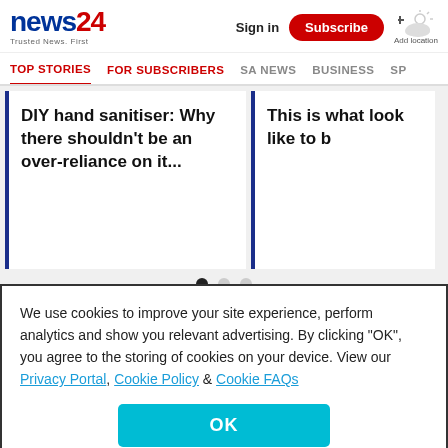news24 — Trusted News. First | Sign in | Subscribe | Add location
TOP STORIES | FOR SUBSCRIBERS | SA NEWS | BUSINESS | SP
DIY hand sanitiser: Why there shouldn't be an over-reliance on it...
This is what look like to b
READ MORE ON:
CORONAVIRUS
We use cookies to improve your site experience, perform analytics and show you relevant advertising. By clicking "OK", you agree to the storing of cookies on your device. View our Privacy Portal, Cookie Policy & Cookie FAQs
OK